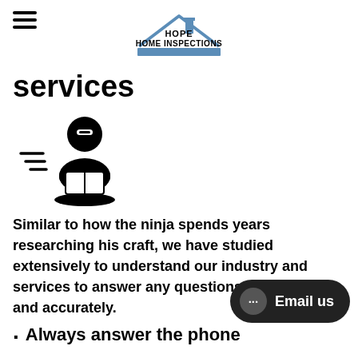HOPE HOME INSPECTIONS
services
[Figure (illustration): Black icon of a ninja/person with a head covering and minus symbol on forehead, reading a book/document, with motion lines to the left suggesting speed or action.]
Similar to how the ninja spends years researching his craft, we have studied extensively to understand our industry and services to answer any questions immediately and accurately.
Always answer the phone